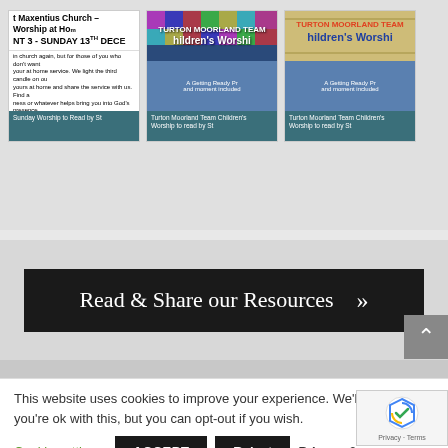[Figure (screenshot): Three resource cards showing worship/children's resources. Card 1: St Maxentius Church Worship at Home NT3 Sunday 13th December text with church image. Card 2: Turton Moorland Team Children's Worship colorful grid header. Card 3: Turton Moorland Team Children's Worship with vintage-style header. Cards have teal/blue captions at bottom.]
Read & Share our Resources »
This website uses cookies to improve your experience. We'll assume you're ok with this, but you can opt-out if you wish.
Cookie settings
ACCEPT
Reject
Privacy & Policy